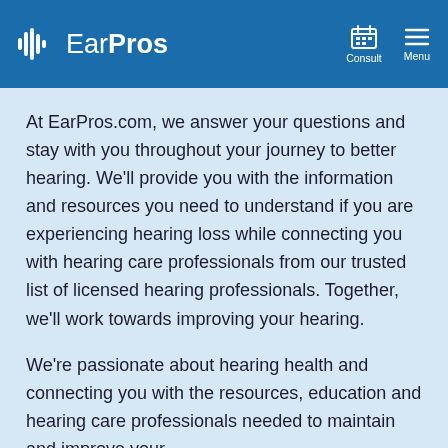EarPros — Consult | Menu
At EarPros.com, we answer your questions and stay with you throughout your journey to better hearing. We'll provide you with the information and resources you need to understand if you are experiencing hearing loss while connecting you with hearing care professionals from our trusted list of licensed hearing professionals. Together, we'll work towards improving your hearing.
We're passionate about hearing health and connecting you with the resources, education and hearing care professionals needed to maintain and improve your